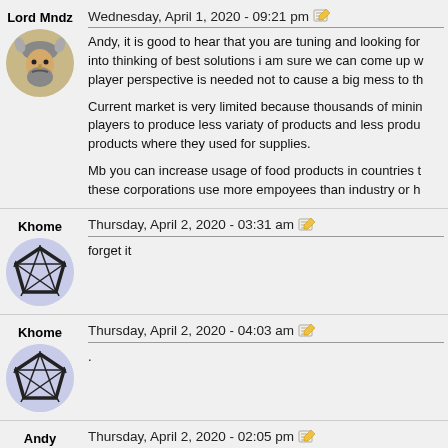Lord Mndz - Wednesday, April 1, 2020 - 09:21 pm
Andy, it is good to hear that you are tuning and looking for into thinking of best solutions i am sure we can come up w player perspective is needed not to cause a big mess to th

Current market is very limited because thousands of minin players to produce less variaty of products and less produ products where they used for supplies.

Mb you can increase usage of food products in countries t these corporations use more empoyees than industry or h
Khome - Thursday, April 2, 2020 - 03:31 am
forget it
Khome - Thursday, April 2, 2020 - 04:03 am
.
Andy - Thursday, April 2, 2020 - 02:05 pm
well